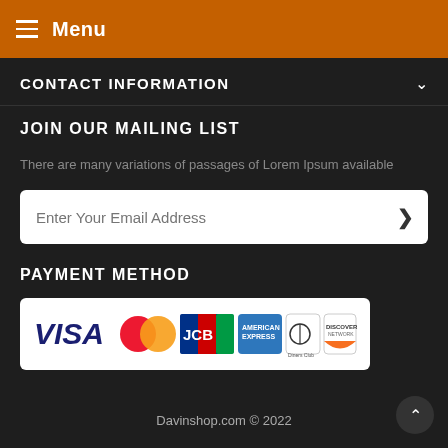Menu
CONTACT INFORMATION
JOIN OUR MAILING LIST
There are many variations of passages of Lorem Ipsum available
Enter Your Email Address
PAYMENT METHOD
[Figure (logo): Payment method logos: VISA, Mastercard, JCB, American Express, Diners Club International, Discover Network]
Davinshop.com © 2022